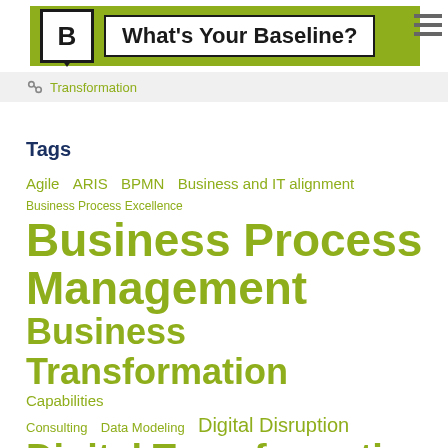What's Your Baseline?
Transformation
Tags
Agile
ARIS
BPMN
Business and IT alignment
Business Process Excellence
Business Process Management
Business Transformation
Capabilities
Consulting
Data Modeling
Digital Disruption
Digital Transformation
EA Capability Model
EA Strategy
End-to-End
Enterprise Architect...